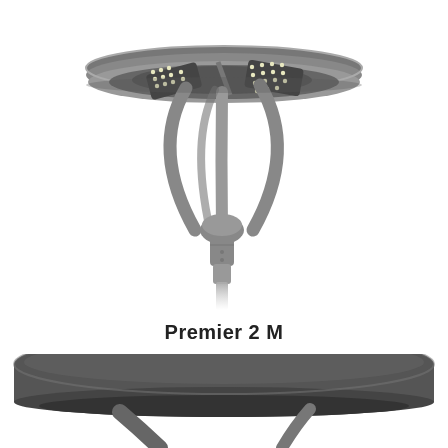[Figure (photo): 3D rendering of a Premier 2 M LED street/area luminaire shown from below at an angle, revealing the circular disc-shaped lamp head with LED modules visible underneath, supported by curved arms meeting at a central cylindrical mounting shaft, in dark grey finish.]
Premier 2 M
[Figure (photo): Close-up 3D rendering of the top/side edge of the Premier 2 M luminaire head, showing the dark grey circular disc housing and the curved support arms, cropped to show only the upper portion of the luminaire.]